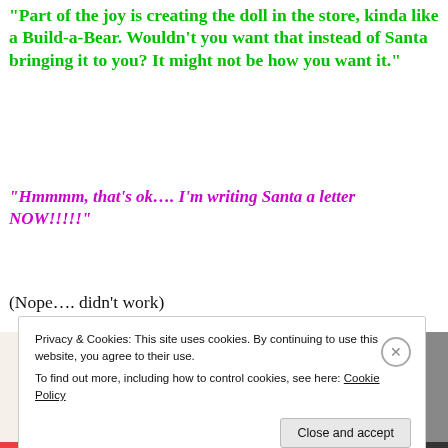“Part of the joy is creating the doll in the store, kinda like a Build-a-Bear. Wouldn’t you want that instead of Santa bringing it to you? It might not be how you want it.”
“Hmmmm, that’s ok…. I’m writing Santa a letter NOW!!!!!”
(Nope…. didn’t work)
[Figure (screenshot): Advertisement screenshot showing partial text 'than a week', an Explore options button, and UI mockup cards with food images]
Privacy & Cookies: This site uses cookies. By continuing to use this website, you agree to their use.
To find out more, including how to control cookies, see here: Cookie Policy
Close and accept